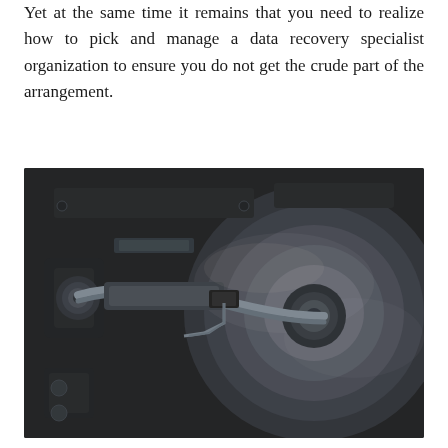Yet at the same time it remains that you need to realize how to pick and manage a data recovery specialist organization to ensure you do not get the crude part of the arrangement.
[Figure (photo): Close-up photograph of an open hard disk drive (HDD) internals, showing the read/write arm assembly, magnetic platter, and actuator mechanism, rendered in dark sepia/monochrome tones.]